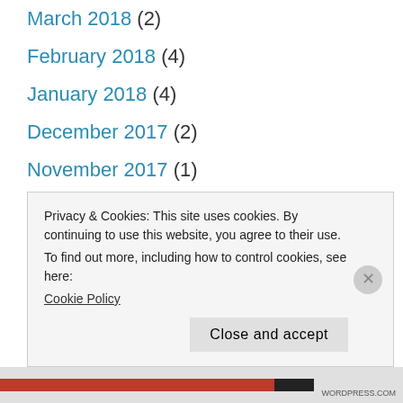March 2018 (2)
February 2018 (4)
January 2018 (4)
December 2017 (2)
November 2017 (1)
October 2017 (2)
September 2017 (2)
August 2017 (5)
July 2017 (3)
Privacy & Cookies: This site uses cookies. By continuing to use this website, you agree to their use.
To find out more, including how to control cookies, see here:
Cookie Policy